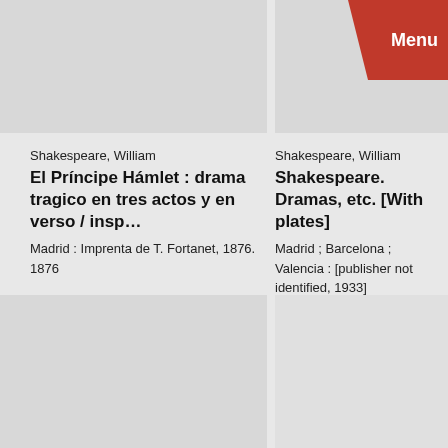[Figure (other): Grey placeholder image box, top left]
[Figure (other): Grey placeholder image box, top right with red Menu banner in corner]
Shakespeare, William
El Príncipe Hámlet : drama tragico en tres actos y en verso / insp…
Madrid : Imprenta de T. Fortanet, 1876.
1876
Shakespeare, William
Shakespeare. Dramas, etc. [With plates]
Madrid ; Barcelona ; Valencia : [publisher not identified, 1933]
1933
[Figure (logo): Shakespeare Birthplace Trust logo watermark on grey background, bottom left]
[Figure (other): Grey placeholder image box, bottom right]